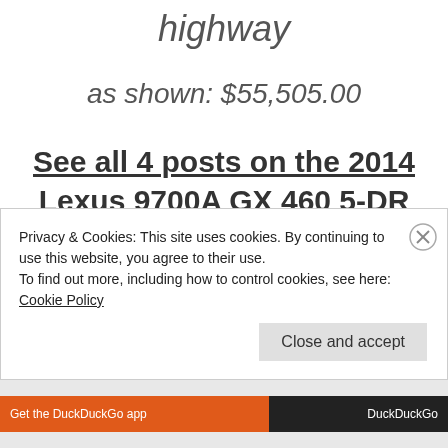highway
as shown: $55,505.00
See all 4 posts on the 2014 Lexus 9700A GX 460 5-DR SUV:
2014 Lexus GX 460 Family Friendly Review/Grandma's
Privacy & Cookies: This site uses cookies. By continuing to use this website, you agree to their use.
To find out more, including how to control cookies, see here: Cookie Policy
Close and accept